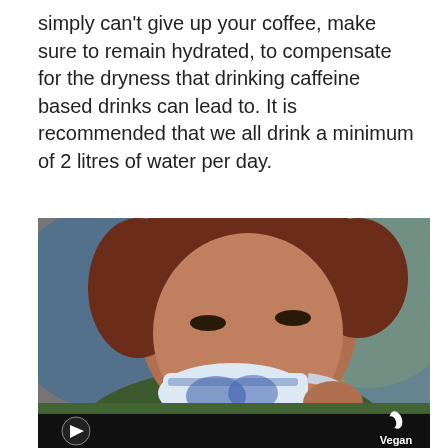simply can't give up your coffee, make sure to remain hydrated, to compensate for the dryness that drinking caffeine based drinks can lead to. It is recommended that we all drink a minimum of 2 litres of water per day.
[Figure (photo): A man drinking from a blue and white decorative teacup/coffee cup, wearing a green knit sweater. Background shows blurred blue and yellow shapes. Bottom left has a play button icon; bottom right has a Vegan logo.]